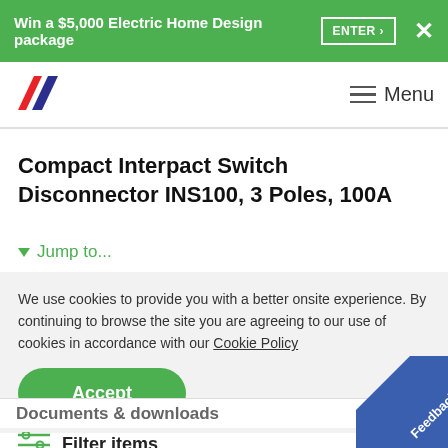Win a $5,000 Electric Home Design package  ENTER ›  ✕
[Figure (logo): Company logo with two diagonal parallelogram shapes in red and dark blue]
≡ Menu
Compact Interpact Switch Disconnector INS100, 3 Poles, 100A
▼ Jump to...
We use cookies to provide you with a better onsite experience. By continuing to browse the site you are agreeing to our use of cookies in accordance with our Cookie Policy
Accept
Documents & downloads  ▲ hide
Filter items